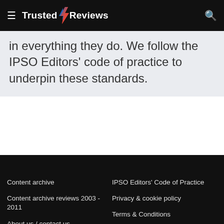Trusted Reviews
in everything they do. We follow the IPSO Editors' code of practice to underpin these standards.
Content archive | Content archive reviews 2003 - 2011 | About us / contact us | Editorial independence | IPSO Editors' Code of Practice | Privacy & cookie policy | Terms & Conditions | Competitions